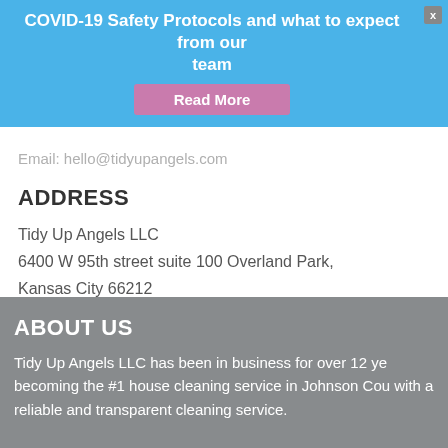COVID-19 Safety Protocols and what to expect from our team
Email: hello@tidyupangels.com
ADDRESS
Tidy Up Angels LLC
6400 W 95th street suite 100 Overland Park,
Kansas City 66212
ABOUT US
Tidy Up Angels LLC has been in business for over 12 ye becoming the #1 house cleaning service in Johnson Cou with a reliable and transparent cleaning service.